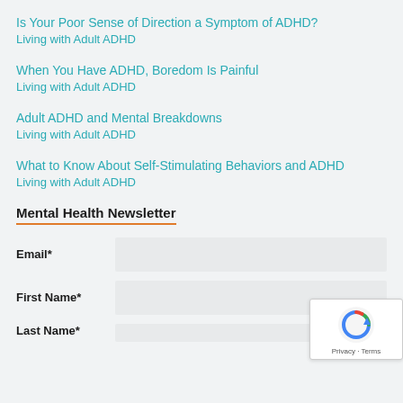Is Your Poor Sense of Direction a Symptom of ADHD?
Living with Adult ADHD
When You Have ADHD, Boredom Is Painful
Living with Adult ADHD
Adult ADHD and Mental Breakdowns
Living with Adult ADHD
What to Know About Self-Stimulating Behaviors and ADHD
Living with Adult ADHD
Mental Health Newsletter
Email*
First Name*
Last Name*